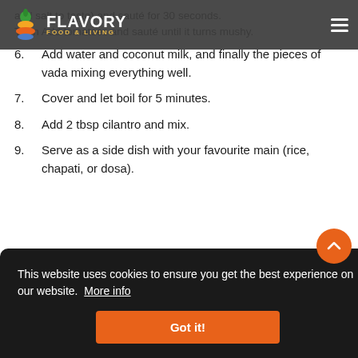FLAVORY FOOD & LIVING
and salt to taste) and sauté for 30 seconds.
Then Add tomatoes and sauté until it turns mushy.
6. Add water and coconut milk, and finally the pieces of vada mixing everything well.
7. Cover and let boil for 5 minutes.
8. Add 2 tbsp cilantro and mix.
9. Serve as a side dish with your favourite main (rice, chapati, or dosa).
spicy  spicy curry  vada
This website uses cookies to ensure you get the best experience on our website. More info
Got it!